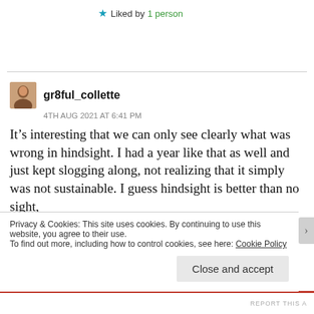Liked by 1 person
gr8ful_collette
4TH AUG 2021 AT 6:41 PM
It’s interesting that we can only see clearly what was wrong in hindsight. I had a year like that as well and just kept slogging along, not realizing that it simply was not sustainable. I guess hindsight is better than no sight,
Privacy & Cookies: This site uses cookies. By continuing to use this website, you agree to their use.
To find out more, including how to control cookies, see here: Cookie Policy
Close and accept